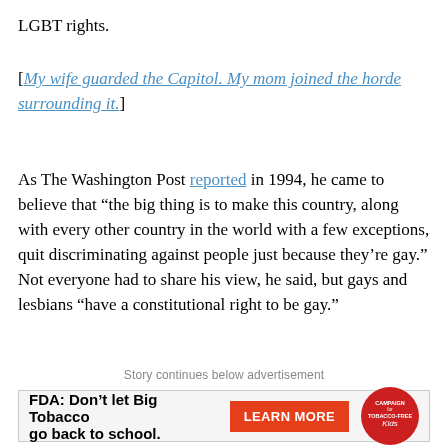LGBT rights.
[My wife guarded the Capitol. My mom joined the horde surrounding it.]
As The Washington Post reported in 1994, he came to believe that “the big thing is to make this country, along with every other country in the world with a few exceptions, quit discriminating against people just because they’re gay.” Not everyone had to share his view, he said, but gays and lesbians “have a constitutional right to be gay.”
Story continues below advertisement
[Figure (other): Advertisement banner: FDA: Don't let Big Tobacco go back to school. With a red LEARN MORE button and Campaign for Tobacco-Free Kids logo.]